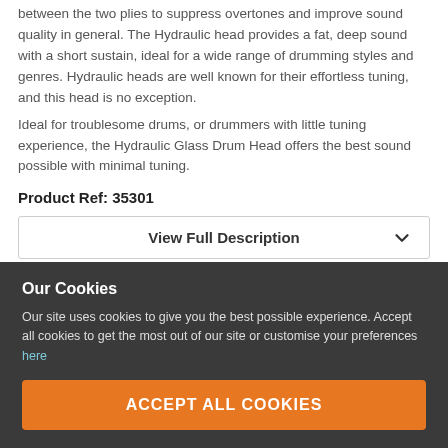between the two plies to suppress overtones and improve sound quality in general. The Hydraulic head provides a fat, deep sound with a short sustain, ideal for a wide range of drumming styles and genres. Hydraulic heads are well known for their effortless tuning, and this head is no exception.
Ideal for troublesome drums, or drummers with little tuning experience, the Hydraulic Glass Drum Head offers the best sound possible with minimal tuning.
Product Ref: 35301
View Full Description
Spread your payment with Klarna. No fees.
Our Cookies
Our site uses cookies to give you the best possible experience. Accept all cookies to get the most out of our site or customise your preferences here
View Customer Comments
Submit a Review
ACCEPT ALL COOKIES